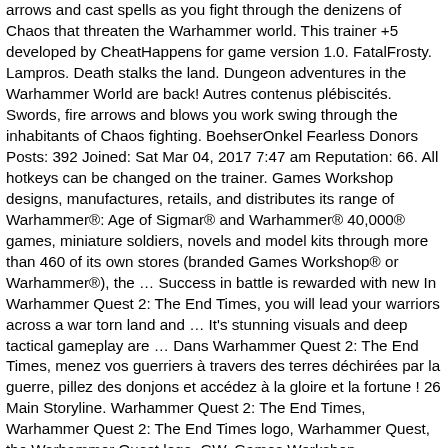arrows and cast spells as you fight through the denizens of Chaos that threaten the Warhammer world. This trainer +5 developed by CheatHappens for game version 1.0. FatalFrosty. Lampros. Death stalks the land. Dungeon adventures in the Warhammer World are back! Autres contenus plébiscités. Swords, fire arrows and blows you work swing through the inhabitants of Chaos fighting. BoehserOnkel Fearless Donors Posts: 392 Joined: Sat Mar 04, 2017 7:47 am Reputation: 66. All hotkeys can be changed on the trainer. Games Workshop designs, manufactures, retails, and distributes its range of Warhammer®: Age of Sigmar® and Warhammer® 40,000® games, miniature soldiers, novels and model kits through more than 460 of its own stores (branded Games Workshop® or Warhammer®), the … Success in battle is rewarded with new In Warhammer Quest 2: The End Times, you will lead your warriors across a war torn land and … It's stunning visuals and deep tactical gameplay are … Dans Warhammer Quest 2: The End Times, menez vos guerriers à travers des terres déchirées par la guerre, pillez des donjons et accédez à la gloire et la fortune ! 26 Main Storyline. Warhammer Quest 2: The End Times, Warhammer Quest 2: The End Times logo, Warhammer Quest, the Warhammer Quest logo, GW, Games Workshop, Warhammer, and all associated logos, illustrations, images, names, creatures, races, vehicles, locations, weapons, characters, and the distinctive likeness thereof, are either ® or TM, and/or © Games Workshop Limited, variably registered around the world, and used under licence. is the great cataclysmic apocalypse that was prophesied to bring about the end of theWarhammer World.It was heralded